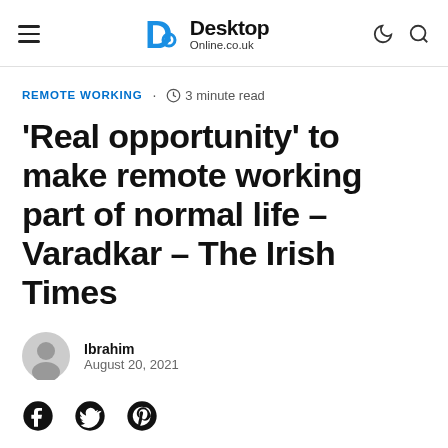Desktop Online.co.uk
REMOTE WORKING · 3 minute read
'Real opportunity' to make remote working part of normal life – Varadkar – The Irish Times
Ibrahim
August 20, 2021